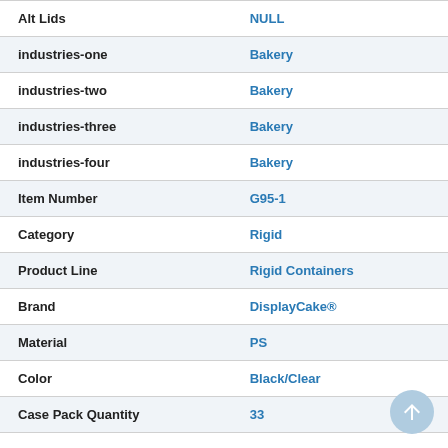| Field | Value |
| --- | --- |
| Alt Lids | NULL |
| industries-one | Bakery |
| industries-two | Bakery |
| industries-three | Bakery |
| industries-four | Bakery |
| Item Number | G95-1 |
| Category | Rigid |
| Product Line | Rigid Containers |
| Brand | DisplayCake® |
| Material | PS |
| Color | Black/Clear |
| Case Pack Quantity | 33 |